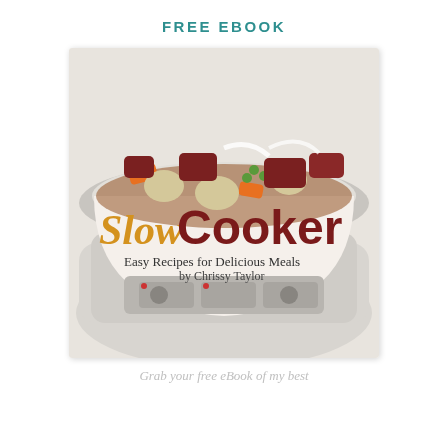FREE EBOOK
[Figure (photo): Book cover of 'Slow Cooker: Easy Recipes for Delicious Meals by Chrissy Taylor' showing a white slow cooker filled with raw ingredients including beef, potatoes, carrots, peas, and onions. The title 'Slow Cooker' is displayed in large text with 'Slow' in gold script and 'Cooker' in dark red bold font. Below reads 'Easy Recipes for Delicious Meals by Chrissy Taylor'.]
Grab your free eBook of my best